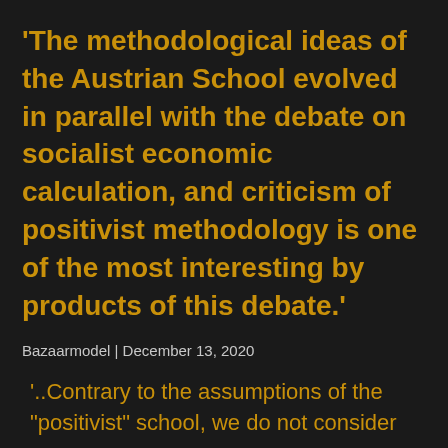‘The methodological ideas of the Austrian School evolved in parallel with the debate on socialist economic calculation, and criticism of positivist methodology is one of the most interesting by products of this debate.’
Bazaarmodel | December 13, 2020
‘..Contrary to the assumptions of the “positivist” school, we do not consider